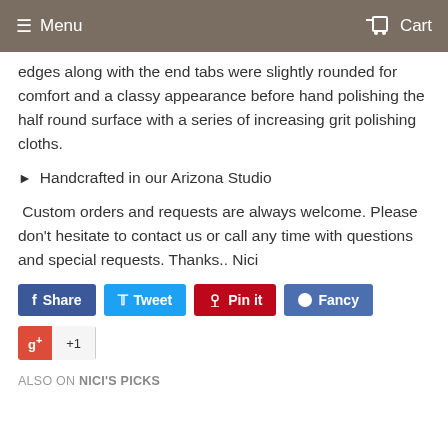Menu  Cart
edges along with the end tabs were slightly rounded for comfort and a classy appearance before hand polishing the half round surface with a series of increasing grit polishing cloths.
Handcrafted in our Arizona Studio
Custom orders and requests are always welcome. Please don't hesitate to contact us or call any time with questions and special requests. Thanks.. Nici
Share  Tweet  Pin it  Fancy  +1